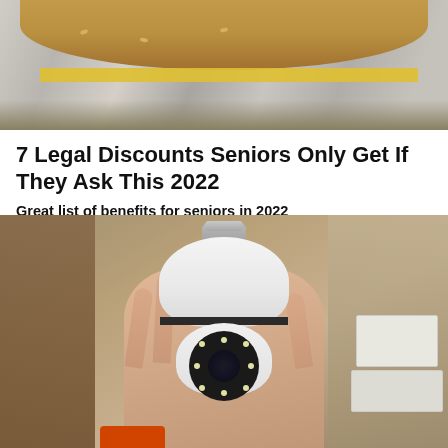[Figure (photo): Top portion of a food photo showing a sandwich/burger on foil wrapping, cropped at top]
7 Legal Discounts Seniors Only Get If They Ask This 2022
Great list of benefits for seniors in 2022
Senior Discounts By National Penny | Sponsored
Learn More
[Figure (photo): A hand holding a white light-bulb shaped security camera with a circular lens surrounded by LED lights, against a cardboard background]